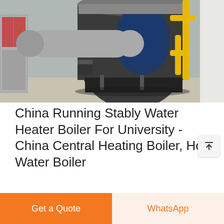[Figure (photo): Industrial hot water boiler installation inside a factory building. Large cylindrical boiler in center with yellow gas pipes on the right side, and a fire extinguisher cabinet on the far left.]
China Running Stably Water Heater Boiler For University - China Central Heating Boiler, Hot Water Boiler
1).Little smoke chamber adopts wet back structure--- eliminating the boiler tube plate crack phenomenon 2).Boiler